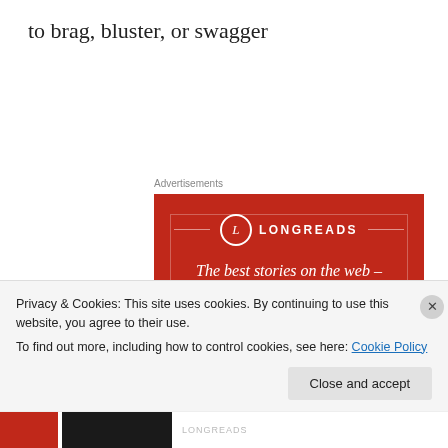to brag, bluster, or swagger
Advertisements
[Figure (advertisement): Longreads advertisement on red background. Logo with circle-L and text LONGREADS, horizontal decorative lines, tagline: The best stories on the web – ours, and everyone else's. Black button: Start reading.]
Privacy & Cookies: This site uses cookies. By continuing to use this website, you agree to their use.
To find out more, including how to control cookies, see here: Cookie Policy
Close and accept